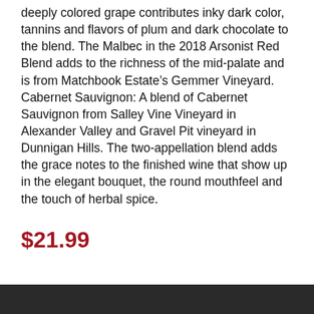deeply colored grape contributes inky dark color, tannins and flavors of plum and dark chocolate to the blend. The Malbec in the 2018 Arsonist Red Blend adds to the richness of the mid-palate and is from Matchbook Estate's Gemmer Vineyard. Cabernet Sauvignon: A blend of Cabernet Sauvignon from Salley Vine Vineyard in Alexander Valley and Gravel Pit vineyard in Dunnigan Hills. The two-appellation blend adds the grace notes to the finished wine that show up in the elegant bouquet, the round mouthfeel and the touch of herbal spice.
$21.99